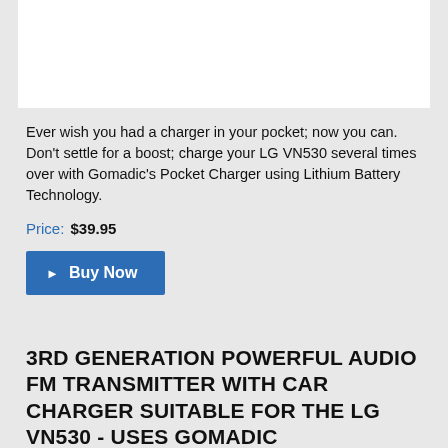[Figure (photo): White box area (product image cropped at top of page)]
Ever wish you had a charger in your pocket; now you can. Don't settle for a boost; charge your LG VN530 several times over with Gomadic's Pocket Charger using Lithium Battery Technology.
Price: $39.95
▶ Buy Now
3RD GENERATION POWERFUL AUDIO FM TRANSMITTER WITH CAR CHARGER SUITABLE FOR THE LG VN530 - USES GOMADIC TIPEXCHANGE TECHNOLOGY
[Figure (photo): White box area (product image partially visible at bottom of page) with dark grey scroll-to-top button in bottom right corner]